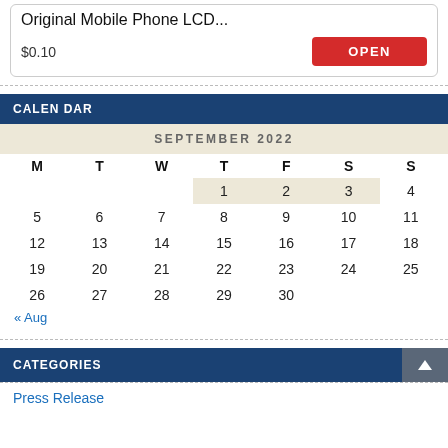[Figure (screenshot): Product card showing 'Original Mobile Phone LCD...' with price $0.10 and an OPEN button]
CALENDAR
| M | T | W | T | F | S | S |
| --- | --- | --- | --- | --- | --- | --- |
|  |  |  | 1 | 2 | 3 | 4 |
| 5 | 6 | 7 | 8 | 9 | 10 | 11 |
| 12 | 13 | 14 | 15 | 16 | 17 | 18 |
| 19 | 20 | 21 | 22 | 23 | 24 | 25 |
| 26 | 27 | 28 | 29 | 30 |  |  |
« Aug
CATEGORIES
Press Release